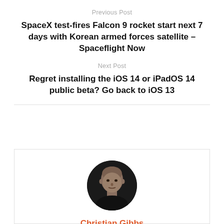Previous Post
SpaceX test-fires Falcon 9 rocket start next 7 days with Korean armed forces satellite – Spaceflight Now
Next Post
Regret installing the iOS 14 or iPadOS 14 public beta? Go back to iOS 13
[Figure (photo): Circular portrait photo of Christian Gibbs, a bald man wearing a dark top, photographed against a dark background]
Christian Gibbs